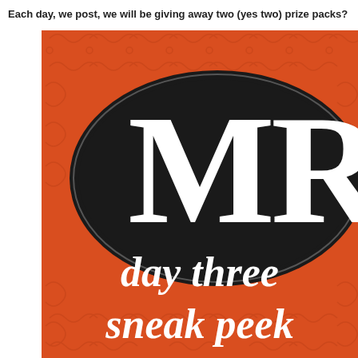Each day, we post, we will be giving away two (yes two) prize packs?
[Figure (logo): Orange background with decorative pattern, large black oval containing white letters MR, with text 'day three' and 'sneak peek' in white bold serif font below on the orange background]